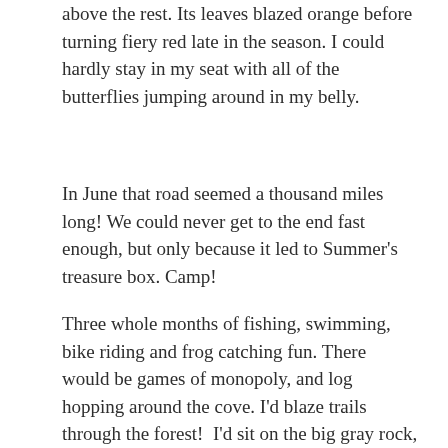above the rest. Its leaves blazed orange before turning fiery red late in the season. I could hardly stay in my seat with all of the butterflies jumping around in my belly.
In June that road seemed a thousand miles long! We could never get to the end fast enough, but only because it led to Summer's treasure box. Camp!
Three whole months of fishing, swimming, bike riding and frog catching fun. There would be games of monopoly, and log hopping around the cove. I'd blaze trails through the forest!  I'd sit on the big gray rock, high above the lake, and watch for shooting stars at night. The possibilities were as boundless as my energy.